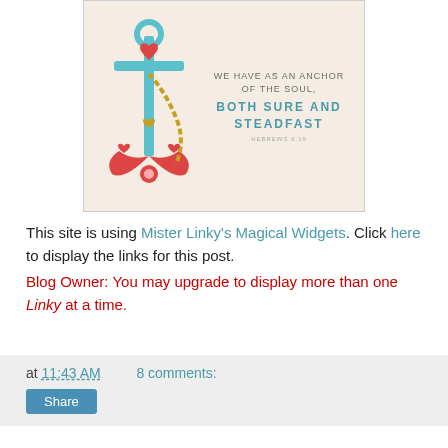[Figure (illustration): Decorative anchor illustration with a teal/blue anchor, red hearts and floral elements, with text reading 'WE HAVE AS AN ANCHOR OF THE SOUL, BOTH SURE AND STEADFAST' and 'HEBREWS 6:19' in a beige/cream bordered box.]
This site is using Mister Linky's Magical Widgets. Click here to display the links for this post.
Blog Owner: You may upgrade to display more than one Linky at a time.
at 11:43 AM  8 comments:
Share
20 September 2017
Blessed with Yarn
I mentioned in my previous post, which you can read here, that I had been gifted a whole lot of yarn, and not just any